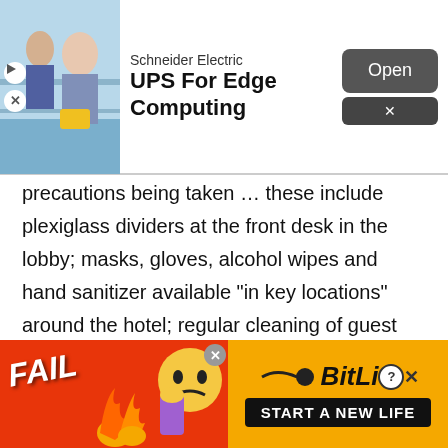[Figure (screenshot): Top advertisement banner: Schneider Electric UPS For Edge Computing ad with store image, Open button, and close X]
precautions being taken … these include plexiglass dividers at the front desk in the lobby; masks, gloves, alcohol wipes and hand sanitizer available “in key locations” around the hotel; regular cleaning of guest rooms and common spaces; and an elevator limit of 4 people.
Hotel Belleclaire (2175 Broadway) and the Belnord Hotel (209 West 87th Street), which also served as
[Figure (screenshot): Bottom advertisement banner: BitLife game ad with FAIL text, flame graphics, emoji, and START A NEW LIFE button]